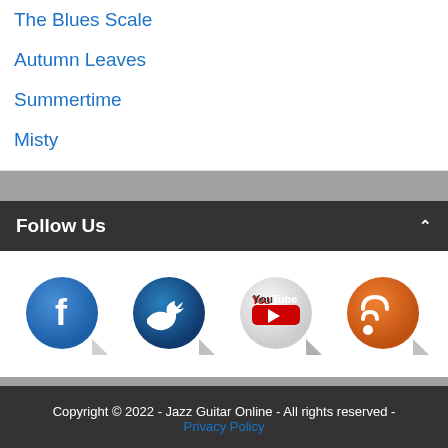The Blues Scale
Autumn Leaves
Summertime
Misty
Follow Us
[Figure (illustration): Four social media sticker icons: Facebook (blue circle with 'f'), Twitter (dark blue circle with bird), YouTube (white circle with YouTube logo), RSS (orange circle with RSS feed icon)]
Copyright © 2022 - Jazz Guitar Online - All rights reserved - Privacy Policy